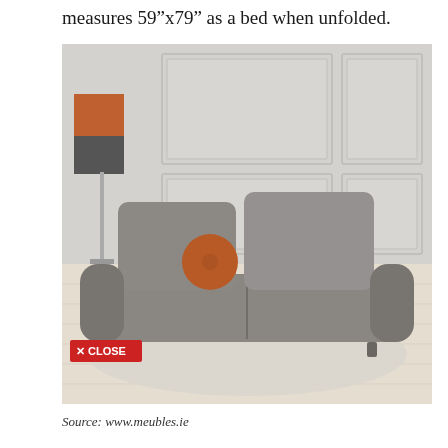measures 59"x79" as a bed when unfolded.
[Figure (photo): A modern grey sofa-bed in a Scandinavian-style living room with white panelled walls, light wood floors, a white rug, and an orange round decorative pillow. A piece of abstract artwork in orange and grey is visible on the left. A red 'X CLOSE' button is overlaid at the bottom left of the image.]
Source: www.meubles.ie